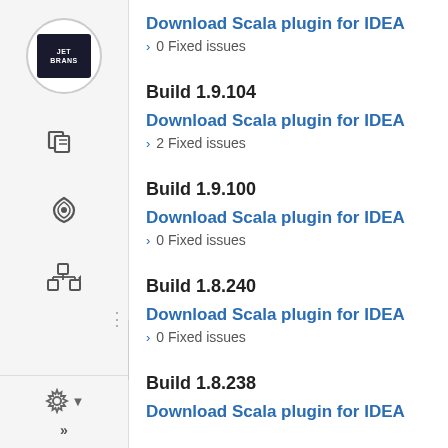Download Scala plugin for IDEA
0 Fixed issues
Build 1.9.104
Download Scala plugin for IDEA
2 Fixed issues
Build 1.9.100
Download Scala plugin for IDEA
0 Fixed issues
Build 1.8.240
Download Scala plugin for IDEA
0 Fixed issues
Build 1.8.238
Download Scala plugin for IDEA